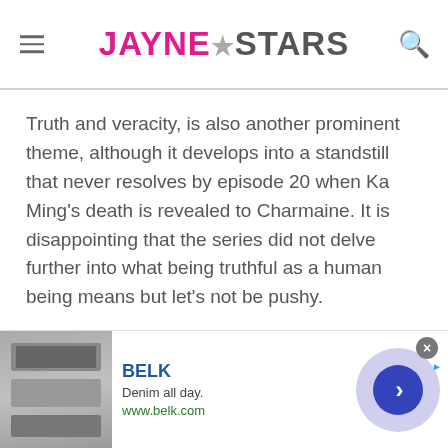JAYNE★STARS
Truth and veracity, is also another prominent theme, although it develops into a standstill that never resolves by episode 20 when Ka Ming's death is revealed to Charmaine. It is disappointing that the series did not delve further into what being truthful as a human being means but let's not be pushy.
Narrative Structure And Execution
[Figure (other): Advertisement banner for BELK showing denim clothing images, brand name BELK, tagline 'Denim all day.', URL www.belk.com, close button, and navigation arrow button]